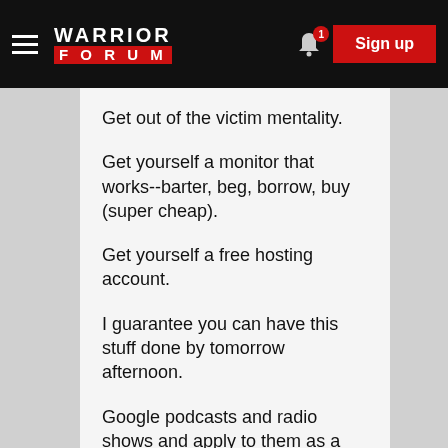Warrior Forum — Sign up
Get out of the victim mentality.
Get yourself a monitor that works--barter, beg, borrow, buy (super cheap).
Get yourself a free hosting account.
I guarantee you can have this stuff done by tomorrow afternoon.
Google podcasts and radio shows and apply to them as a guest